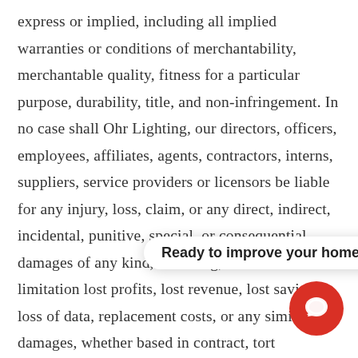express or implied, including all implied warranties or conditions of merchantability, merchantable quality, fitness for a particular purpose, durability, title, and non-infringement. In no case shall Ohr Lighting, our directors, officers, employees, affiliates, agents, contractors, interns, suppliers, service providers or licensors be liable for any injury, loss, claim, or any direct, indirect, incidental, punitive, special, or consequential damages of any kind, including, without limitation lost profits, lost revenue, lost savings, loss of data, replacement costs, or any similar damages, whether based in contract, tort (including negligence), strict liability or otherwise, arising from your use of any procured using the service, or for any other claim related in any way to your use of the service or any product, including but not limited to, any errors or omissions in any content, any loss or damage of any kind incurred as a result of the use
[Figure (other): A tooltip/chat popup bubble reading 'Ready to improve your home?' with a red circular chat button in the bottom-right corner.]